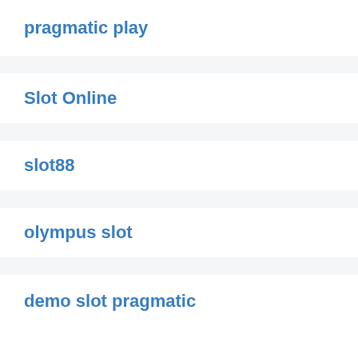pragmatic play
Slot Online
slot88
olympus slot
demo slot pragmatic